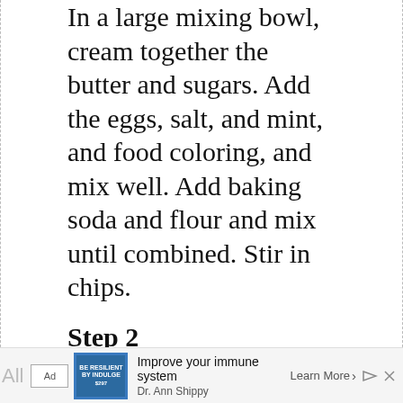In a large mixing bowl, cream together the butter and sugars. Add the eggs, salt, and mint, and food coloring, and mix well. Add baking soda and flour and mix until combined. Stir in chips.
Step 2
Drop by 2 TBS scoops onto an ungreased cookie sheet 2" apart. Dip tops of cookies into sprinkles and bake 8 minutes.
[Figure (other): Advertisement banner: Ad label, image of a book/app with text 'BE RESILIENT BY INDULGE $297', tagline 'Improve your immune system', attribution 'Dr. Ann Shippy', call to action 'Learn More']